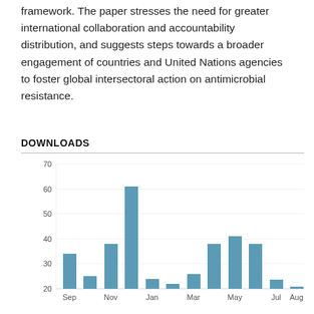framework. The paper stresses the need for greater international collaboration and accountability distribution, and suggests steps towards a broader engagement of countries and United Nations agencies to foster global intersectoral action on antimicrobial resistance.
DOWNLOADS
[Figure (bar-chart): Downloads]